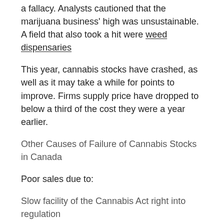a fallacy. Analysts cautioned that the marijuana business' high was unsustainable. A field that also took a hit were weed dispensaries
This year, cannabis stocks have crashed, as well as it may take a while for points to improve. Firms supply price have dropped to below a third of the cost they were a year earlier.
Other Causes of Failure of Cannabis Stocks in Canada
Poor sales due to:
Slow facility of the Cannabis Act right into regulation
This made cultivators reluctant to make big capacity expansion projects. A bulk of growers are still developing their capacity, leaving supply much listed below domestic need.
Standards by the regulatory authority, Health Canada
The process of conformity to these standards for done in the value chain from farmers to merchants, has actually resulted